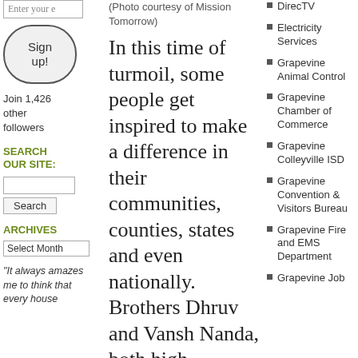Enter your email
Sign up!
Join 1,426 other followers
SEARCH OUR SITE:
Search
ARCHIVES
Select Month
"It always amazes me to think that every house
(Photo courtesy of Mission Tomorrow)
In this time of turmoil, some people get inspired to make a difference in their communities, counties, states and even nationally. Brothers Dhruv and Vansh Nanda, both high schoolers, launched a 501 (c)(3) nonprofit organization called,
DirecTV
Electricity Services
Grapevine Animal Control
Grapevine Chamber of Commerce
Grapevine Colleyville ISD
Grapevine Convention & Visitors Bureau
Grapevine Fire and EMS Department
Grapevine Job